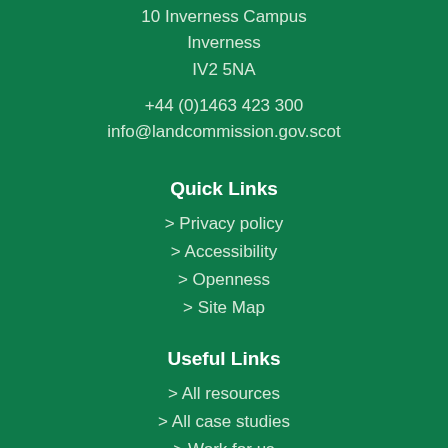10 Inverness Campus
Inverness
IV2 5NA
+44 (0)1463 423 300
info@landcommission.gov.scot
Quick Links
> Privacy policy
> Accessibility
> Openness
> Site Map
Useful Links
> All resources
> All case studies
> Work for us